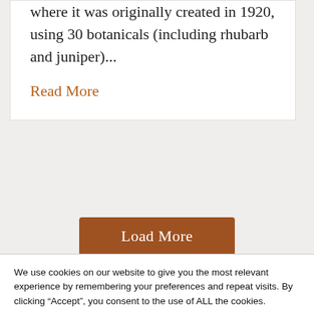where it was originally created in 1920, using 30 botanicals (including rhubarb and juniper)...
Read More
Load More
We use cookies on our website to give you the most relevant experience by remembering your preferences and repeat visits. By clicking “Accept”, you consent to the use of ALL the cookies.
Do not sell my personal information.
Cookie Settings
Accept